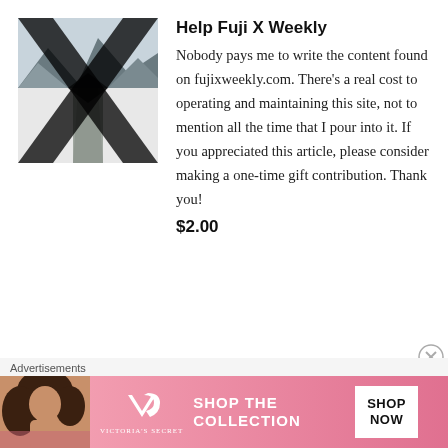[Figure (logo): Fuji X Weekly logo — stylized X shape in black and white with mountain/landscape photograph]
Help Fuji X Weekly
Nobody pays me to write the content found on fujixweekly.com. There’s a real cost to operating and maintaining this site, not to mention all the time that I pour into it. If you appreciated this article, please consider making a one-time gift contribution. Thank you!
$2.00
Advertisements
[Figure (photo): Victoria's Secret advertisement banner with woman model, VS logo, and 'SHOP THE COLLECTION' text with 'SHOP NOW' button]